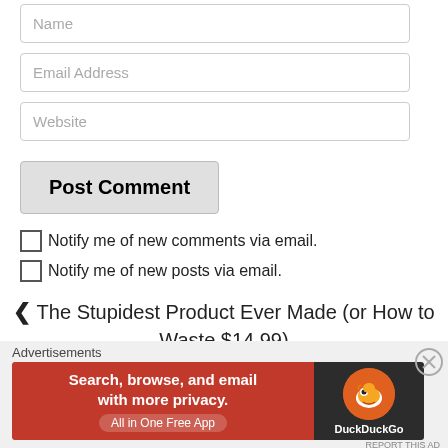Name
Email Address
Website
Post Comment
Notify me of new comments via email.
Notify me of new posts via email.
❮ The Stupidest Product Ever Made (or How to Waste $14.99)
Random Thoughts on Random 2012 Events ❯
Advertisements
[Figure (infographic): DuckDuckGo advertisement banner: 'Search, browse, and email with more privacy. All in One Free App' with DuckDuckGo duck logo on dark background]